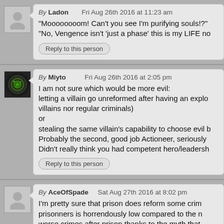By Ladon   Fri Aug 26th 2016 at 11:23 am
"Moooooooom! Can't you see I'm purifying souls!?" "No, Vengence isn't 'just a phase' this is my LIFE no
Reply to this person
By Miyto   Fri Aug 26th 2016 at 2:05 pm
I am not sure which would be more evil: letting a villain go unreformed after having an explo villains nor regular criminals) or stealing the same villain's capability to choose evil b Probably the second, good job Actioneer, seriously Didn't really think you had competent hero/leadersh
Reply to this person
By AceOfSpade   Sat Aug 27th 2016 at 8:02 pm
I'm pretty sure that prison does reform some crim prisonners is horrendously low compared to the n worse crimes after prison thanks to the myth that